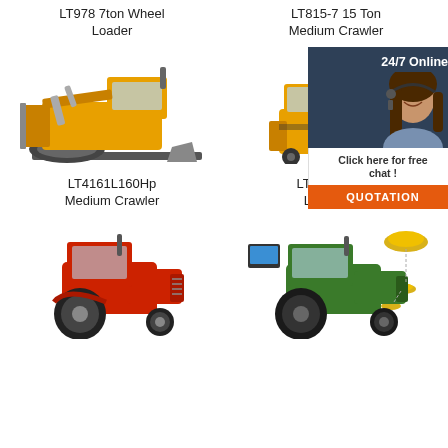LT978 7ton Wheel Loader
[Figure (photo): Yellow bulldozer/crawler machine]
LT815-7 15 Ton Medium Crawler
[Figure (photo): Yellow forklift truck]
[Figure (photo): 24/7 Online customer service chat popup with woman wearing headset]
LT4161L160Hp Medium Crawler
LT530T 3 Ton Lpg Forklift
[Figure (photo): Red agricultural tractor]
[Figure (photo): Green tractor with GPS/navigation system components]